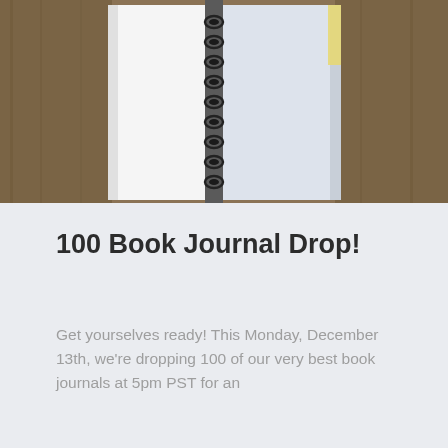[Figure (photo): Photo of an open spiral-bound notebook on a wooden surface, viewed from above, showing blank white pages and the spiral binding in the center.]
100 Book Journal Drop!
Get yourselves ready! This Monday, December 13th, we're dropping 100 of our very best book journals at 5pm PST for an
[Figure (photo): Photo of a spiral-bound book journal made from a Dr. Seuss 'Bright and Early Books for Beginning Beginners' book cover, lying on a surface with autumn leaves. The title 'Foo...' is visible in teal text at the bottom of the cover.]